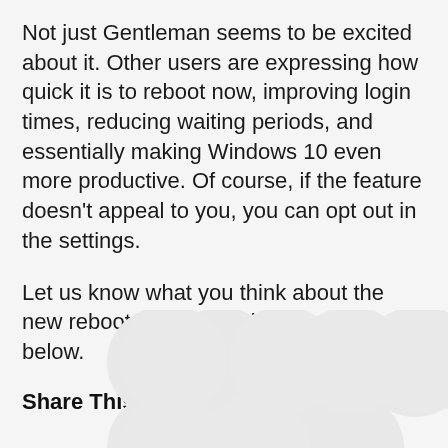Not just Gentleman seems to be excited about it. Other users are expressing how quick it is to reboot now, improving login times, reducing waiting periods, and essentially making Windows 10 even more productive. Of course, if the feature doesn't appeal to you, you can opt out in the settings.
Let us know what you think about the new reboot experience in the comments below.
Share This Post:
[Figure (other): Social sharing icon buttons shown as grey circles arranged in two rows]